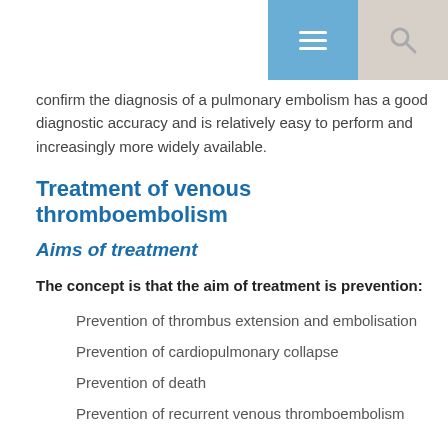confirm the diagnosis of a pulmonary embolism has a good diagnostic accuracy and is relatively easy to perform and increasingly more widely available.
Treatment of venous thromboembolism
Aims of treatment
The concept is that the aim of treatment is prevention:
Prevention of thrombus extension and embolisation
Prevention of cardiopulmonary collapse
Prevention of death
Prevention of recurrent venous thromboembolism